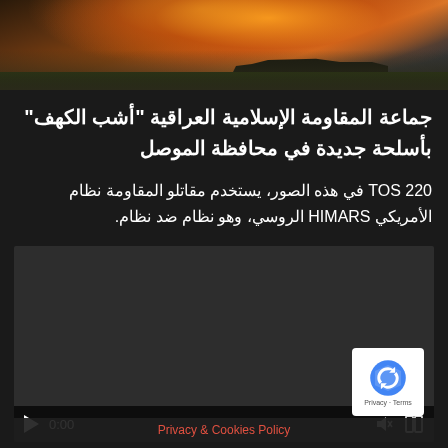[Figure (photo): A military tank firing rockets with large orange flames and smoke against a dark sky, with green grass in the foreground.]
جماعة المقاومة الإسلامية العراقية "أشب الكهف" بأسلحة جديدة في محافظة الموصل
TOS 220 في هذه الصور، يستخدم مقاتلو المقاومة نظام الأمريكي HIMARS الروسي، وهو نظام ضد نظام.
[Figure (screenshot): Embedded video player showing a dark/black screen with playback controls at the bottom including play button, 0:00 timestamp, volume and fullscreen icons. A Privacy & Cookies Policy banner appears at the bottom, and a reCAPTCHA badge appears in the bottom right corner.]